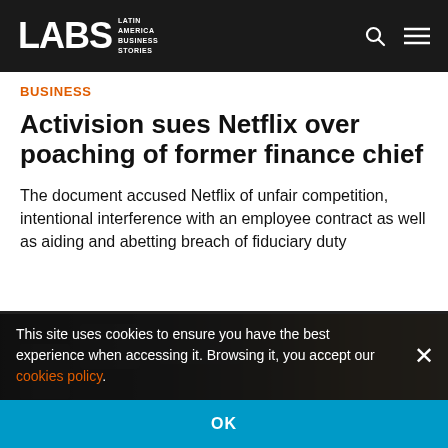LABS Latin America Business Stories
BUSINESS
Activision sues Netflix over poaching of former finance chief
The document accused Netflix of unfair competition, intentional interference with an employee contract as well as aiding and abetting breach of fiduciary duty
[Figure (photo): Blurred photo with dark left side and warm-toned right side, showing an indistinct background scene]
This site uses cookies to ensure you have the best experience when accessing it. Browsing it, you accept our cookies policy.
OK